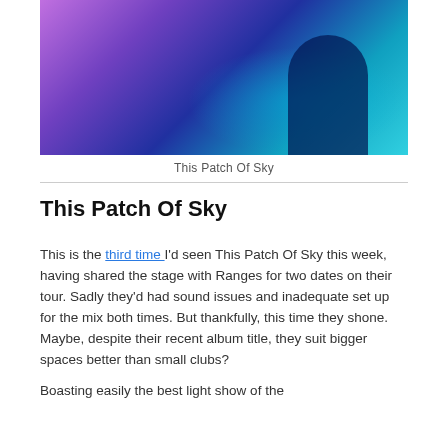[Figure (photo): A musician on stage playing guitar bathed in purple and blue stage lighting]
This Patch Of Sky
This Patch Of Sky
This is the third time I'd seen This Patch Of Sky this week, having shared the stage with Ranges for two dates on their tour. Sadly they'd had sound issues and inadequate set up for the mix both times. But thankfully, this time they shone. Maybe, despite their recent album title, they suit bigger spaces better than small clubs?
Boasting easily the best light show of the...